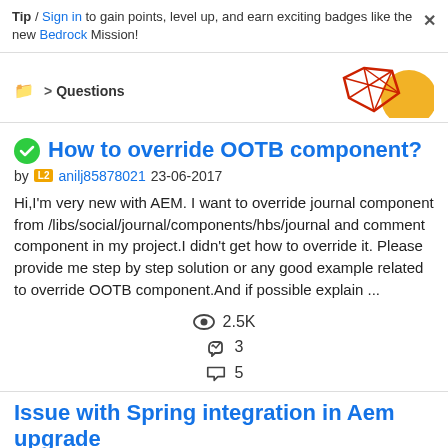Tip / Sign in to gain points, level up, and earn exciting badges like the new Bedrock Mission!
Questions
How to override OOTB component?
by anilj85878021 23-06-2017
Hi,I'm very new with AEM. I want to override journal component from /libs/social/journal/components/hbs/journal and comment component in my project.I didn't get how to override it. Please provide me step by step solution or any good example related to override OOTB component.And if possible explain ...
2.5K views, 3 likes, 5 replies
Issue with Spring integration in Aem upgrade